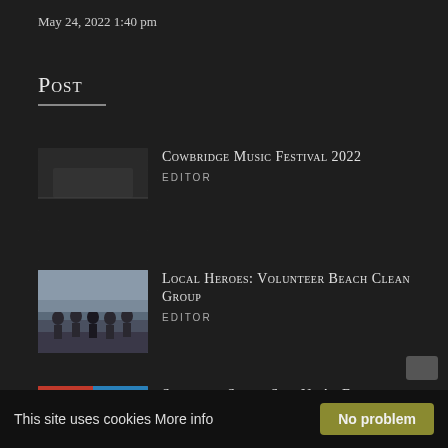May 24, 2022 1:40 pm
Post
Cowbridge Music Festival 2022
EDITOR
[Figure (photo): Thumbnail image placeholder for Cowbridge Music Festival 2022 article]
Local Heroes: Volunteer Beach Clean Group
EDITOR
[Figure (photo): Photo of a group of people on a beach doing a clean-up activity]
Scooters, Sunny Side Up At Fontygary
EDITOR
[Figure (photo): Photo of colourful scooters at Fontygary, red and blue tones]
This site uses cookies More info
No problem